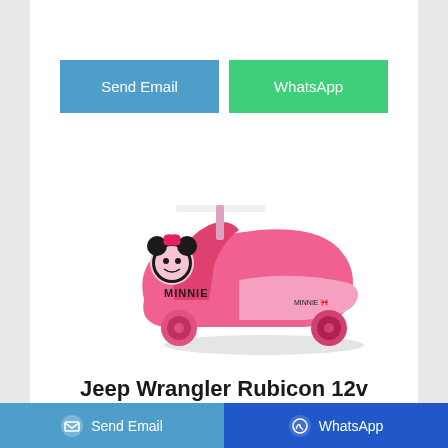[Figure (other): Two buttons: 'Send Email' (blue/teal) and 'WhatsApp' (green)]
[Figure (photo): Pink Minnie Mouse children's plasma car / wiggle car ride-on toy with Minnie Mouse character figure on front, white steering bar, pink wheels, and 'MINNIE' text on the body]
Jeep Wrangler Rubicon 12v Battery Electric Kids Ride On
[Figure (other): Bottom bar with two buttons: 'Send Email' (light blue with envelope icon) and 'WhatsApp' (dark blue with WhatsApp icon)]